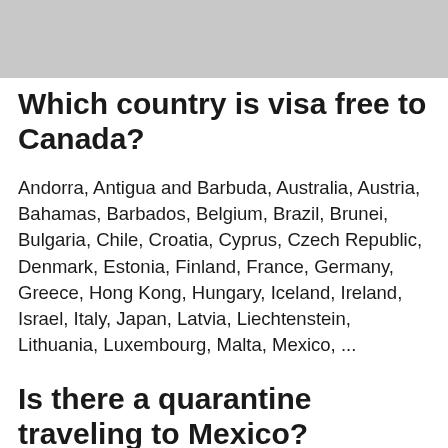[Figure (photo): Gray image placeholder at top of page]
Which country is visa free to Canada?
Andorra, Antigua and Barbuda, Australia, Austria, Bahamas, Barbados, Belgium, Brazil, Brunei, Bulgaria, Chile, Croatia, Cyprus, Czech Republic, Denmark, Estonia, Finland, France, Germany, Greece, Hong Kong, Hungary, Iceland, Ireland, Israel, Italy, Japan, Latvia, Liechtenstein, Lithuania, Luxembourg, Malta, Mexico, ...
Is there a quarantine traveling to Mexico?
Mexico is open to travelers. There is no need